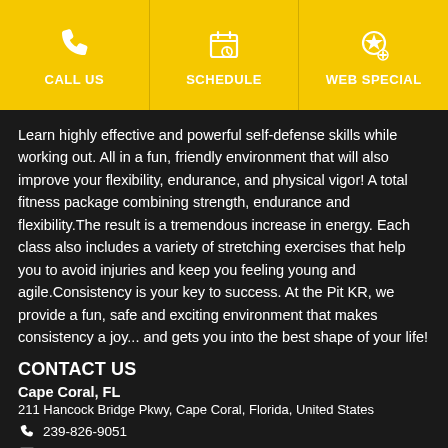CALL US | SCHEDULE | WEB SPECIAL
Learn highly effective and powerful self-defense skills while working out. All in a fun, friendly environment that will also improve your flexibility, endurance, and physical vigor! A total fitness package combining strength, endurance and flexibility.The result is a tremendous increase in energy. Each class also includes a variety of stretching exercises that help you to avoid injuries and keep you feeling young and agile.Consistency is your key to success. At the Pit KR, we provide a fun, safe and exciting environment that makes consistency a joy... and gets you into the best shape of your life!
CONTACT US
Cape Coral, FL
211 Hancock Bridge Pkwy, Cape Coral, Florida, United States
239-826-9051
jack@thepitkr.com